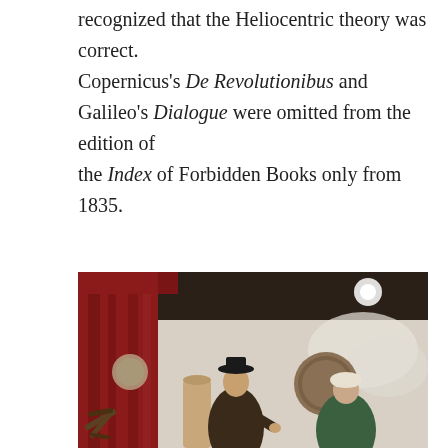recognized that the Heliocentric theory was correct. Copernicus's De Revolutionibus and Galileo's Dialogue were omitted from the edition of the Index of Forbidden Books only from 1835.
[Figure (photo): Museum exhibit scene showing two mannequins/figures dressed in historical period costumes (one in dark cloak and black hat, one in green dress with white headpiece) standing in a room decorated with a red curtain, a wooden astronomical instrument, and circular objects on the wall. Ceiling has dark beams and spotlights.]